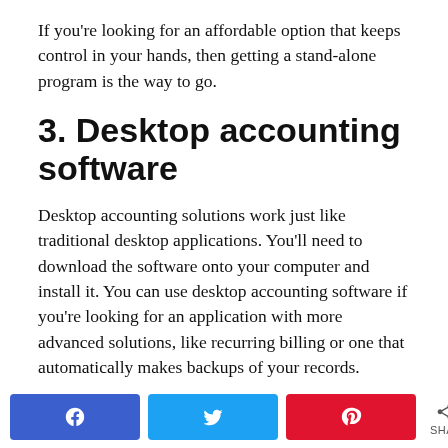If you're looking for an affordable option that keeps control in your hands, then getting a stand-alone program is the way to go.
3. Desktop accounting software
Desktop accounting solutions work just like traditional desktop applications. You'll need to download the software onto your computer and install it. You can use desktop accounting software if you're looking for an application with more advanced solutions, like recurring billing or one that automatically makes backups of your records.
Don't go for this option if you want a program that can be accessed from anywhere because you won't be able to
[Figure (other): Social share bar with Facebook, Twitter, Pinterest buttons and a share count of 0]